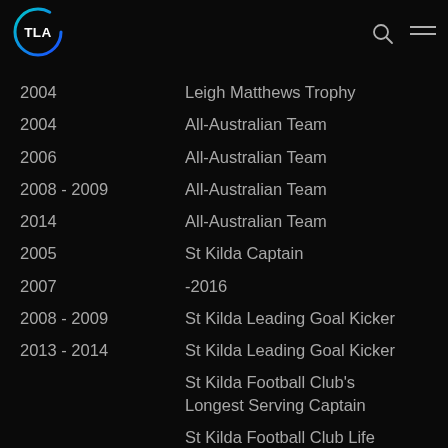[Figure (logo): TLA logo — circular gradient border (teal to blue) with white TLA text inside]
| Year | Award |
| --- | --- |
| 2004 | Leigh Matthews Trophy |
| 2004 | All-Australian Team |
| 2006 | All-Australian Team |
| 2008 - 2009 | All-Australian Team |
| 2014 | All-Australian Team |
| 2005 | St Kilda Captain |
| 2007 | -2016 |
| 2008 - 2009 | St Kilda Leading Goal Kicker |
| 2013 - 2014 | St Kilda Leading Goal Kicker |
|  | St Kilda Football Club's Longest Serving Captain |
|  | St Kilda Football Club Life Member |